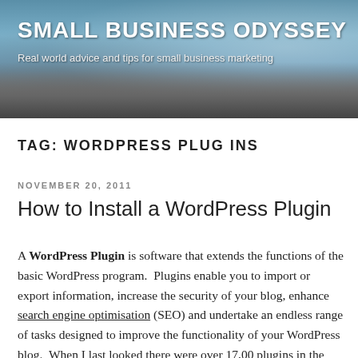SMALL BUSINESS ODYSSEY
Real world advice and tips for small business marketing
TAG: WORDPRESS PLUG INS
NOVEMBER 20, 2011
How to Install a WordPress Plugin
A WordPress Plugin is software that extends the functions of the basic WordPress program. Plugins enable you to import or export information, increase the security of your blog, enhance search engine optimisation (SEO) and undertake an endless range of tasks designed to improve the functionality of your WordPress blog. When I last looked there were over 17,00 plugins in the WordPress Directory (with over 235